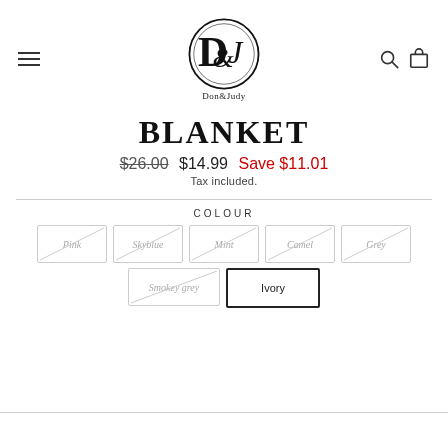[Figure (logo): Don&Judy circular logo with stylized J&D monogram, with text Don&Judy below]
BLANKET
$26.00  $14.99  Save $11.01
Tax included.
COLOUR
Pink
Skyblue
Mint
Camel
Grey
Smokey grey
Ivory